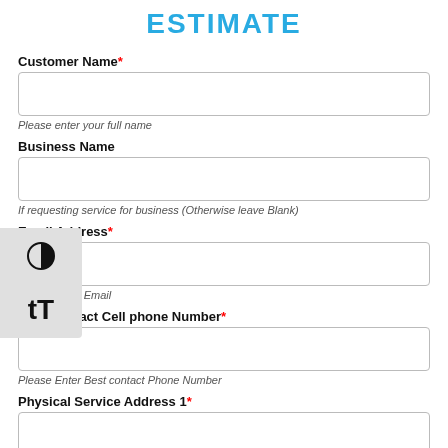ESTIMATE
Customer Name*
Please enter your full name
Business Name
If requesting service for business (Otherwise leave Blank)
Email Address*
Enter a Valid Email
Best Contact Cell phone Number*
Please Enter Best contact Phone Number
Physical Service Address 1*